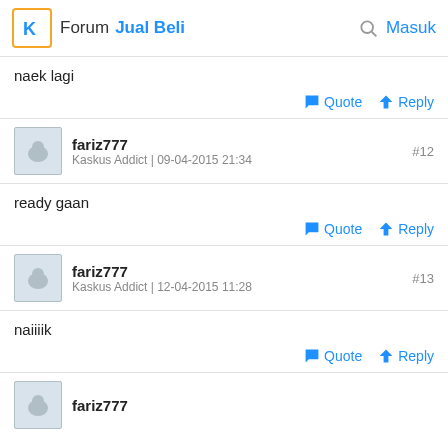Forum Jual Beli  Masuk
naek lagi
Quote   Reply
fariz777
Kaskus Addict | 09-04-2015 21:34  #12
ready gaan
Quote   Reply
fariz777
Kaskus Addict | 12-04-2015 11:28  #13
naiiiik
Quote   Reply
fariz777